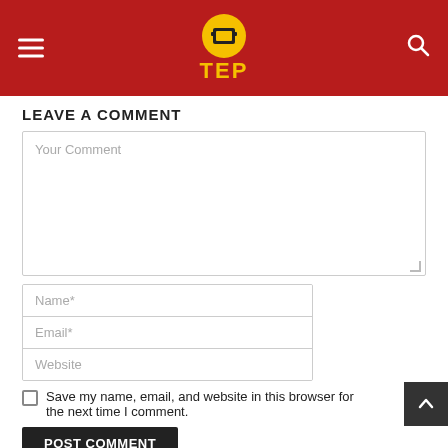TEP (logo with hamburger menu and search icon)
LEAVE A COMMENT
Your Comment
Name*
Email*
Website
Save my name, email, and website in this browser for the next time I comment.